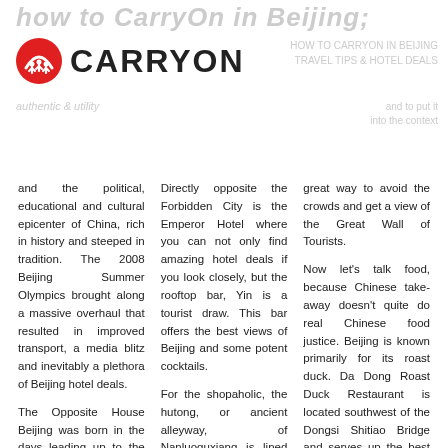[Figure (logo): CarryOn logo with red circular icon showing stylized figures and bold CARRYON text]
and the political, educational and cultural epicenter of China, rich in history and steeped in tradition. The 2008 Beijing Summer Olympics brought along a massive overhaul that resulted in improved transport, a media blitz and inevitably a plethora of Beijing hotel deals.
The Opposite House Beijing was born in the days leading up to the 2008...
Directly opposite the Forbidden City is the Emperor Hotel where you can not only find amazing hotel deals if you look closely, but the rooftop bar, Yin is a tourist draw. This bar offers the best views of Beijing and some potent cocktails.
For the shopaholic, the hutong, or ancient alleyway, of Nanluoguxiang is lined with miles of shops, galleries and further along in the...
great way to avoid the crowds and get a view of the Great Wall of Tourists.
Now let's talk food, because Chinese take-away doesn't quite do real Chinese food justice. Beijing is known primarily for its roast duck. Da Dong Roast Duck Restaurant is located southwest of the Dongsi Shitiao Bridge and serves up the best Peking...